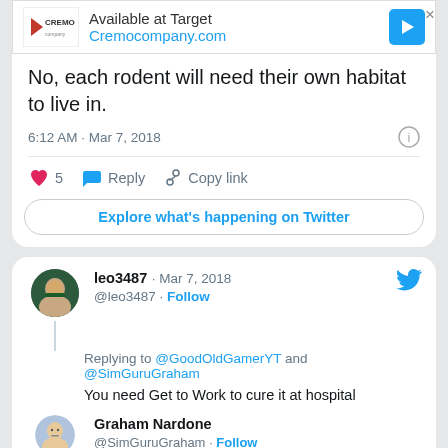[Figure (screenshot): Advertisement banner for Cremo company — Available at Target, Cremocompany.com]
No, each rodent will need their own habitat to live in.
6:12 AM · Mar 7, 2018
5  Reply  Copy link
Explore what's happening on Twitter
leo3487 · Mar 7, 2018 @leo3487 · Follow
Replying to @GoodOldGamerYT and @SimGuruGraham
You need Get to Work to cure it at hospital
Graham Nardone @SimGuruGraham · Follow
No, there's a serum that can be acquired